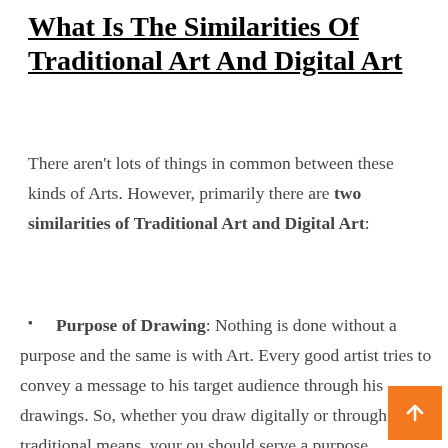What Is The Similarities Of Traditional Art And Digital Art
There aren't lots of things in common between these kinds of Arts. However, primarily there are two similarities of Traditional Art and Digital Art:
Purpose of Drawing: Nothing is done without a purpose and the same is with Art. Every good artist tries to convey a message to his target audience through his drawings. So, whether you draw digitally or through traditional means, your ou should serve a purpose.